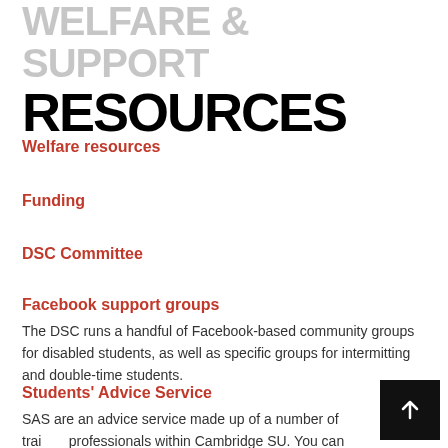RESOURCES
Welfare resources
Funding
DSC Committee
Facebook support groups
The DSC runs a handful of Facebook-based community groups for disabled students, as well as specific groups for intermitting and double-time students.
Students' Advice Service
SAS are an advice service made up of a number of trained professionals within Cambridge SU. You can contact them by email, phone, or by attending drop-in sessions, and they offer